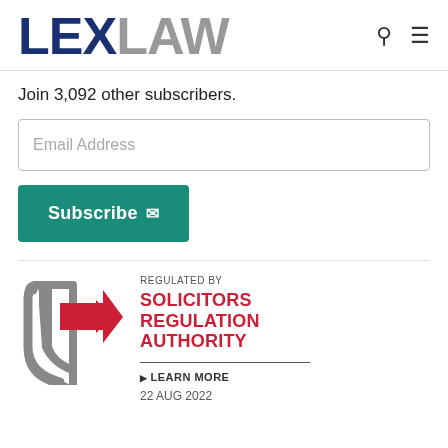LEXLAW
Join 3,092 other subscribers.
Email Address
Subscribe ✉
[Figure (logo): Solicitors Regulation Authority badge logo with grey shield and red arrow]
REGULATED BY
SOLICITORS REGULATION AUTHORITY
▶ LEARN MORE
22 AUG 2022